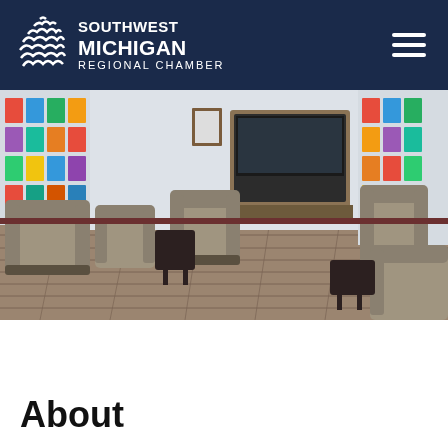Southwest Michigan Regional Chamber
[Figure (photo): Interior of Southwest Michigan Regional Chamber lobby with grey armchairs, a small side table, hardwood floor, and walls covered with brochures and pamphlets. A service window/counter is visible in the background.]
About